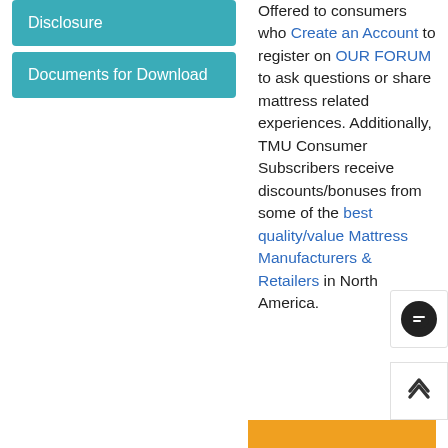Disclosure
Documents for Download
Offered to consumers who Create an Account to register on OUR FORUM to ask questions or share mattress related experiences. Additionally, TMU Consumer Subscribers receive discounts/bonuses from some of the best quality/value Mattress Manufacturers & Retailers in North America.